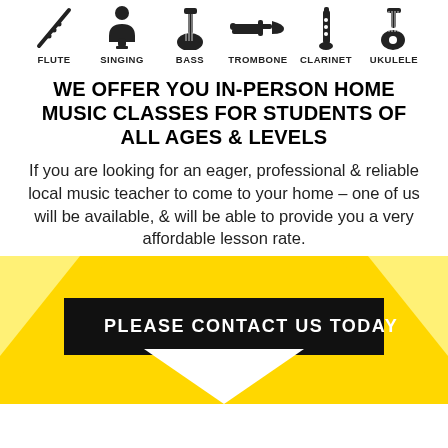[Figure (illustration): Six musical instrument icons in a row: flute, singing (microphone with person), bass guitar, trombone, clarinet, ukulele, each with label below]
WE OFFER YOU IN-PERSON HOME MUSIC CLASSES FOR STUDENTS OF ALL AGES & LEVELS
If you are looking for an eager, professional & reliable local music teacher to come to your home – one of us will be available, & will be able to provide you a very affordable lesson rate.
PLEASE CONTACT US TODAY